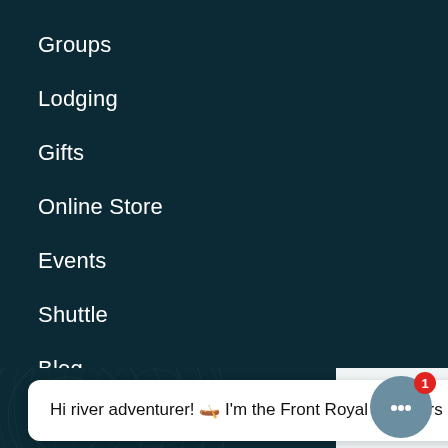Groups
Lodging
Gifts
Online Store
Events
Shuttle
Blog
Hi river adventurer! 🛶 I'm the Front Royal Outdoors chatbot. How can I help you today?
Call   FAQ   Map   Book